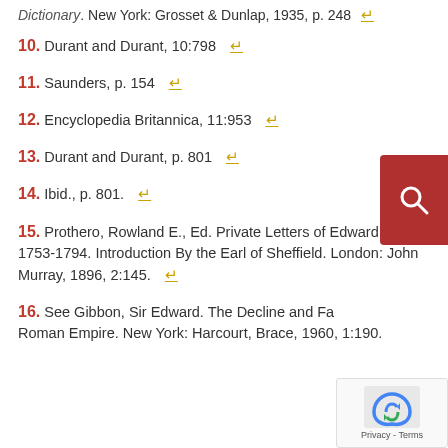Dictionary. New York: Grosset & Dunlap, 1935, p. 248 ↵
10. Durant and Durant, 10:798 ↵
11. Saunders, p. 154 ↵
12. Encyclopedia Britannica, 11:953 ↵
13. Durant and Durant, p. 801 ↵
14. Ibid., p. 801. ↵
15. Prothero, Rowland E., Ed. Private Letters of Edward Gibbon 1753-1794. Introduction By the Earl of Sheffield. London: John Murray, 1896, 2:145. ↵
16. See Gibbon, Sir Edward. The Decline and Fall of the Roman Empire. New York: Harcourt, Brace, 1960, 1:190.